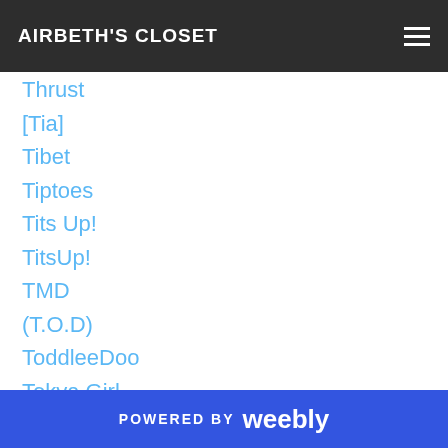AIRBETH'S CLOSET
Thrust
[Tia]
Tibet
Tiptoes
Tits Up!
TitsUp!
TMD
(T.O.D)
ToddleeDoo
Tokya.Girl
Tomboi
Tonic
Tooty Fruity
Tori Tooticelli
Tori Torricelli
POWERED BY weebly